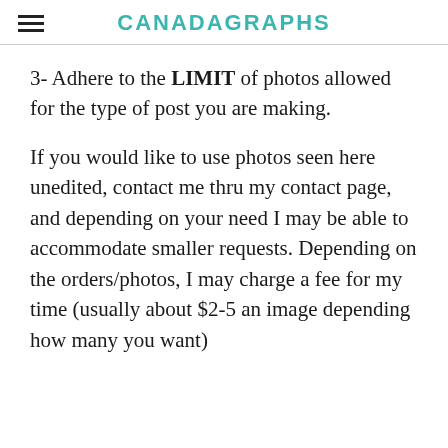CANADAGRAPHS
3- Adhere to the LIMIT of photos allowed for the type of post you are making.
If you would like to use photos seen here unedited, contact me thru my contact page, and depending on your need I may be able to accommodate smaller requests. Depending on the orders/photos, I may charge a fee for my time (usually about $2-5 an image depending how many you want)